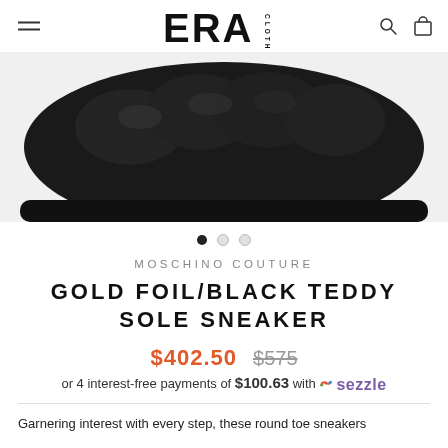ERA Clothing — navigation header with hamburger menu, logo, search and cart icons
[Figure (photo): Close-up photo of a black teddy sole sneaker with puffy leather-look toe box, showing the top portion of the shoe against a white background.]
MOSCHINO COUTURE
GOLD FOIL/BLACK TEDDY SOLE SNEAKER
$402.50  $575  or 4 interest-free payments of $100.63 with Sezzle
Garnering interest with every step, these round toe sneakers